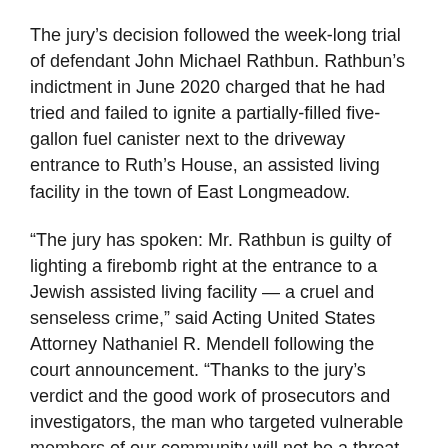The jury’s decision followed the week-long trial of defendant John Michael Rathbun. Rathbun’s indictment in June 2020 charged that he had tried and failed to ignite a partially-filled five-gallon fuel canister next to the driveway entrance to Ruth’s House, an assisted living facility in the town of East Longmeadow.
“The jury has spoken: Mr. Rathbun is guilty of lighting a firebomb right at the entrance to a Jewish assisted living facility — a cruel and senseless crime,” said Acting United States Attorney Nathaniel R. Mendell following the court announcement. “Thanks to the jury’s verdict and the good work of prosecutors and investigators, the man who targeted vulnerable members of our community will not be a threat to public safety anytime soon.”
Joseph R. Bonavolonta — Special Agent in Charge of the FBI’s Boston Division — stressed